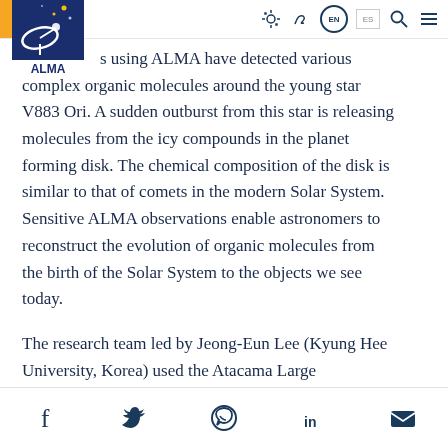[Figure (logo): ALMA observatory logo: dark blue square with satellite dish and stars, text ALMA below]
s using ALMA have detected various complex organic molecules around the young star V883 Ori. A sudden outburst from this star is releasing molecules from the icy compounds in the planet forming disk. The chemical composition of the disk is similar to that of comets in the modern Solar System. Sensitive ALMA observations enable astronomers to reconstruct the evolution of organic molecules from the birth of the Solar System to the objects we see today.
The research team led by Jeong-Eun Lee (Kyung Hee University, Korea) used the Atacama Large
Social share icons: Facebook, Twitter, WhatsApp, LinkedIn, Email